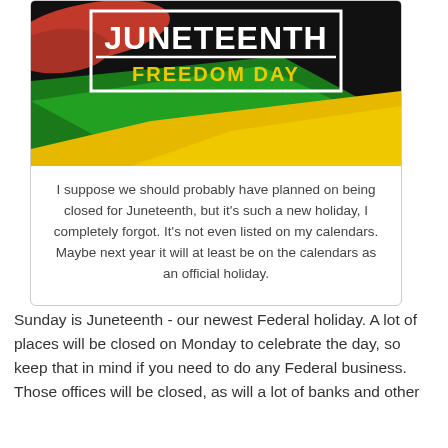[Figure (illustration): Juneteenth Freedom Day graphic with bold white text on black, red/green/yellow brushstroke design]
I suppose we should probably have planned on being closed for Juneteenth, but it's such a new holiday, I completely forgot. It's not even listed on my calendars. Maybe next year it will at least be on the calendars as an official holiday.
Sunday is Juneteenth - our newest Federal holiday. A lot of places will be closed on Monday to celebrate the day, so keep that in mind if you need to do any Federal business. Those offices will be closed, as will a lot of banks and other